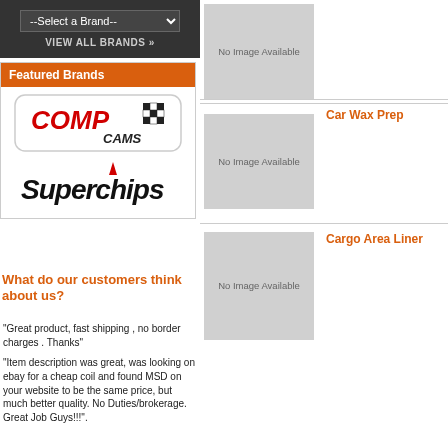[Figure (screenshot): Dark top bar with Select a Brand dropdown and VIEW ALL BRANDS link]
Featured Brands
[Figure (logo): COMP CAMS logo in red and white with checkered flag]
[Figure (logo): Superchips logo in black with red flame]
What do our customers think about us?
"Great product, fast shipping , no border charges . Thanks"
"Item description was great, was looking on ebay for a cheap coil and found MSD on your website to be the same price, but much better quality. No Duties/brokerage. Great Job Guys!!!".
[Figure (photo): No Image Available placeholder box 1]
Car Wax Prep
[Figure (photo): No Image Available placeholder box 2]
Cargo Area Liner
[Figure (photo): No Image Available placeholder box 3]